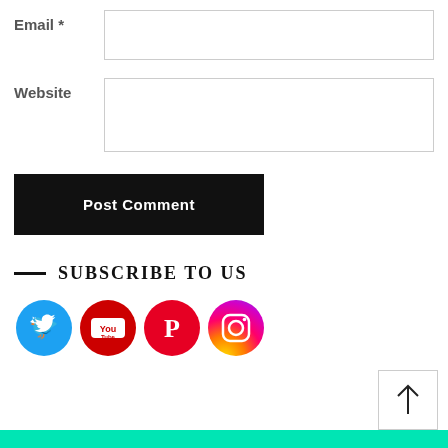Email *
Website
Post Comment
— SUBSCRIBE TO US
[Figure (illustration): Four social media icons: Twitter (blue circle), YouTube (red circle), Pinterest (red circle), Instagram (gradient circle)]